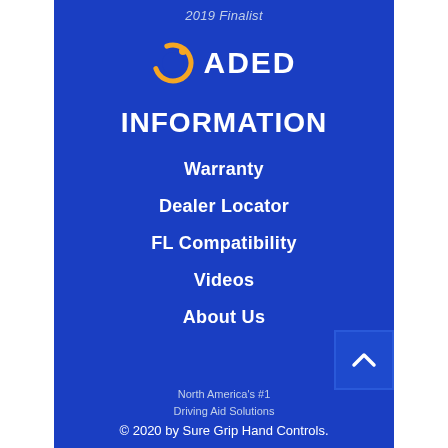2019 Finalist
[Figure (logo): ADED logo: orange circular arrow symbol followed by bold white text 'ADED']
INFORMATION
Warranty
Dealer Locator
FL Compatibility
Videos
About Us
North America's #1
Driving Aid Solutions
© 2020 by Sure Grip Hand Controls.